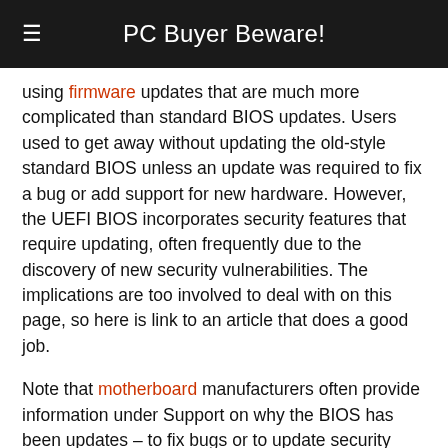PC Buyer Beware!
using firmware updates that are much more complicated than standard BIOS updates. Users used to get away without updating the old-style standard BIOS unless an update was required to fix a bug or add support for new hardware. However, the UEFI BIOS incorporates security features that require updating, often frequently due to the discovery of new security vulnerabilities. The implications are too involved to deal with on this page, so here is link to an article that does a good job.
Note that motherboard manufacturers often provide information under Support on why the BIOS has been updates – to fix bugs or to update security features, etc. If that is the case, you can find out the reasons for updates and decide if it is worth while updating.
For example, the link below provides the BIOS updates for an MSI B450M PRO M2 MAX motherboard and provides